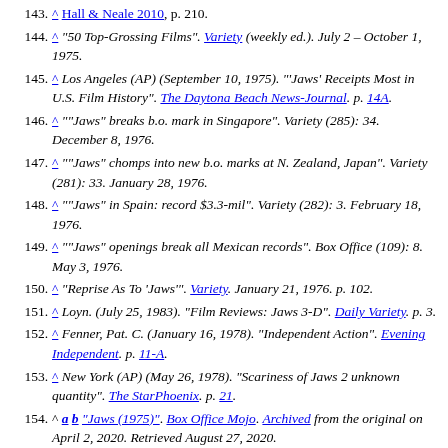143. ^ Hall & Neale 2010, p. 210.
144. ^ "50 Top-Grossing Films". Variety (weekly ed.). July 2 – October 1, 1975.
145. ^ Los Angeles (AP) (September 10, 1975). "'Jaws' Receipts Most in U.S. Film History". The Daytona Beach News-Journal. p. 14A.
146. ^ ""Jaws" breaks b.o. mark in Singapore". Variety (285): 34. December 8, 1976.
147. ^ ""Jaws" chomps into new b.o. marks at N. Zealand, Japan". Variety (281): 33. January 28, 1976.
148. ^ ""Jaws" in Spain: record $3.3-mil". Variety (282): 3. February 18, 1976.
149. ^ ""Jaws" openings break all Mexican records". Box Office (109): 8. May 3, 1976.
150. ^ "Reprise As To 'Jaws'". Variety. January 21, 1976. p. 102.
151. ^ Loyn. (July 25, 1983). "Film Reviews: Jaws 3-D". Daily Variety. p. 3.
152. ^ Fenner, Pat. C. (January 16, 1978). "Independent Action". Evening Independent. p. 11-A.
153. ^ New York (AP) (May 26, 1978). "Scariness of Jaws 2 unknown quantity". The StarPhoenix. p. 21.
154. ^ a b "Jaws (1975)". Box Office Mojo. Archived from the original on April 2, 2020. Retrieved August 27, 2020.
155. ^ The Economist online (July 11, 2011). "Pottering on, and